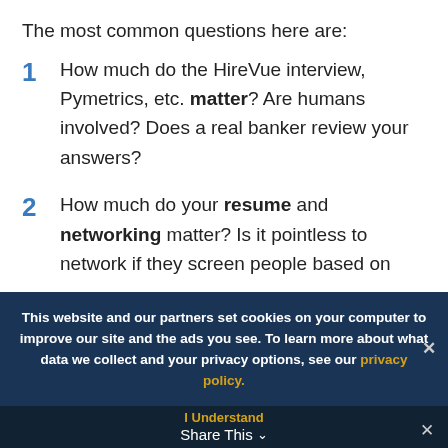The most common questions here are:
How much do the HireVue interview, Pymetrics, etc. matter? Are humans involved? Does a real banker review your answers?
How much do your resume and networking matter? Is it pointless to network if they screen people based on
This website and our partners set cookies on your computer to improve our site and the ads you see. To learn more about what data we collect and your privacy options, see our privacy policy.
I Understand
Share This